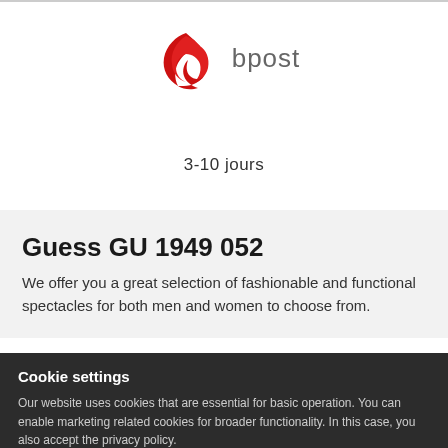[Figure (logo): bpost logo — red swoosh/checkmark shape on left, 'bpost' text in grey on right]
3-10 jours
Guess GU 1949 052
We offer you a great selection of fashionable and functional spectacles for both men and women to choose from.
Cookie settings
Our website uses cookies that are essential for basic operation. You can enable marketing related cookies for broader functionality. In this case, you also accept the privacy policy.
I do not agree
I AGREE